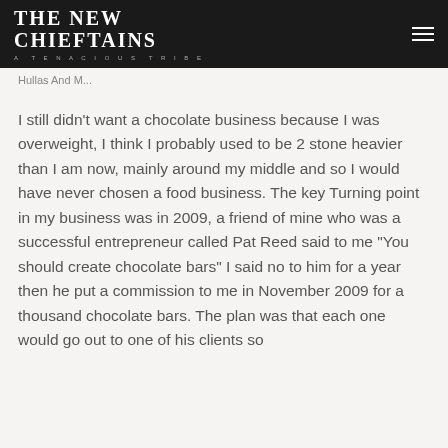THE NEW CHIEFTAINS — A TENACIOUS TRIBE
Hullas And M...
I still didn't want a chocolate business because I was overweight, I think I probably used to be 2 stone heavier than I am now, mainly around my middle and so I would have never chosen a food business. The key Turning point in my business was in 2009, a friend of mine who was a successful entrepreneur called Pat Reed said to me "You should create chocolate bars" I said no to him for a year then he put a commission to me in November 2009 for a thousand chocolate bars. The plan was that each one would go out to one of his clients so